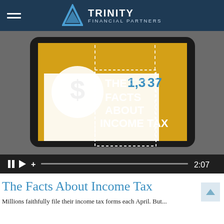Trinity Financial Partners
[Figure (screenshot): Video thumbnail showing a tablet displaying 'The Facts About Income Tax' infographic video, with playback controls showing pause, play, add buttons, progress bar, and timestamp 2:07]
The Facts About Income Tax
Millions faithfully file their income tax forms each April. But...